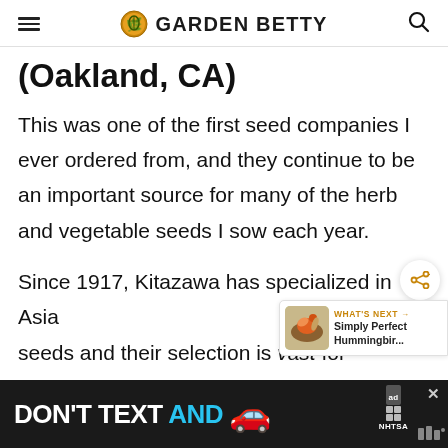GARDEN BETTY
(Oakland, CA)
This was one of the first seed companies I ever ordered from, and they continue to be an important source for many of the herb and vegetable seeds I sow each year.
Since 1917, Kitazawa has specialized in Asian seeds and their selection is vast for a seed supplier (over 500 varieties of Asian ve…
[Figure (other): Advertisement banner: DON'T TEXT AND [car emoji] with NHTSA ad label]
[Figure (other): What's Next promo box with hummingbird image: Simply Perfect Hummingbir...]